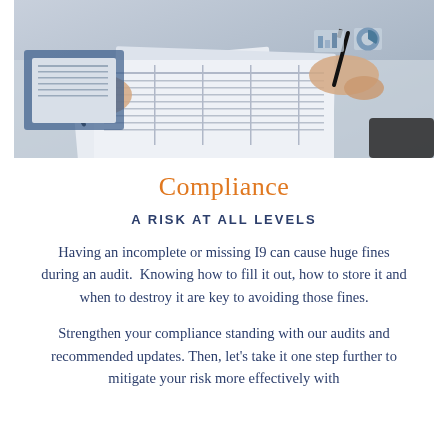[Figure (photo): Two people holding pens reviewing financial documents and spreadsheets on a desk, viewed from above at an angle.]
Compliance
A RISK AT ALL LEVELS
Having an incomplete or missing I9 can cause huge fines during an audit.  Knowing how to fill it out, how to store it and when to destroy it are key to avoiding those fines.
Strengthen your compliance standing with our audits and recommended updates. Then, let’s take it one step further to mitigate your risk more effectively with